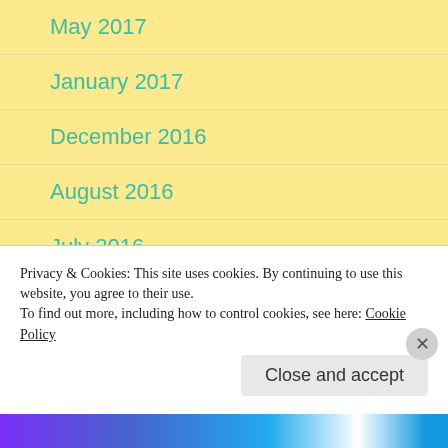May 2017
January 2017
December 2016
August 2016
July 2016
June 2016
Privacy & Cookies: This site uses cookies. By continuing to use this website, you agree to their use.
To find out more, including how to control cookies, see here: Cookie Policy
Close and accept